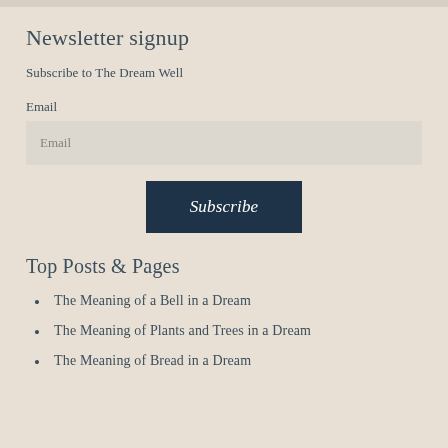Newsletter signup
Subscribe to The Dream Well
Email
Email
Subscribe
Top Posts & Pages
The Meaning of a Bell in a Dream
The Meaning of Plants and Trees in a Dream
The Meaning of Bread in a Dream